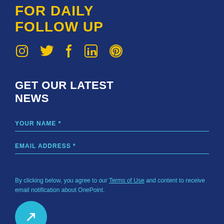FOR DAILY FOLLOW UP
[Figure (illustration): Social media icons: Instagram, Twitter, Facebook, LinkedIn, Pinterest — rendered in gold/yellow]
GET OUR LATEST NEWS
YOUR NAME *
EMAIL ADDRESS *
By clicking below, you agree to our Terms of Use and content to receive email notification about OnePoint.
[Figure (illustration): Teal circular button with a white arrow/checkmark icon at bottom left]